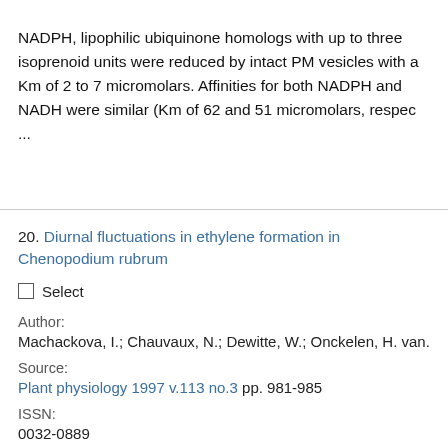NADPH, lipophilic ubiquinone homologs with up to three isoprenoid units were reduced by intact PM vesicles with a Km of 2 to 7 micromolars. Affinities for both NADPH and NADH were similar (Km of 62 and 51 micromolars, respec ...
20. Diurnal fluctuations in ethylene formation in Chenopodium rubrum
Select
Author: Machackova, I.; Chauvaux, N.; Dewitte, W.; Onckelen, H. van.
Source: Plant physiology 1997 v.113 no.3 pp. 981-985
ISSN: 0032-0889
Subject: 1-aminocyclopropane-1-carboxylic acid; Chenopodium rubrum; seedlings; light; dose response; ethylene; biosynthesis; diurnal variation; photoperiod; flowering;